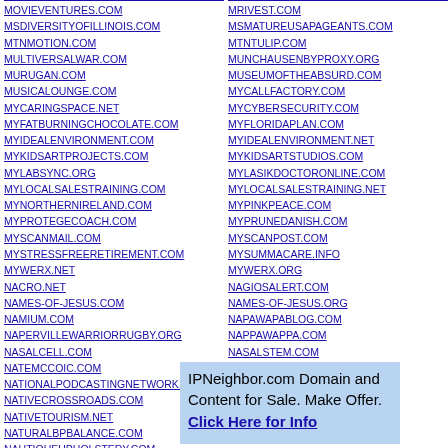MOVIEVENTURES.COM
MSDIVERSITYOFILLINOIS.COM
MTNMOTION.COM
MULTIVERSALWAR.COM
MURUGAN.COM
MUSICALOUNGE.COM
MYCARINGSPACE.NET
MYFATBURNINGCHOCOLATE.COM
MYIDEALENVIRONMENT.COM
MYKIDSARTPROJECTS.COM
MYLABSYNC.ORG
MYLOCALSALESTRAINING.COM
MYNORTHERNIRELAND.COM
MYPROTEGECOACH.COM
MYSCANMAIL.COM
MYSTRESSFREERETIREMENT.COM
MYWERX.NET
NACRO.NET
NAMES-OF-JESUS.COM
NAMIUM.COM
NAPERVILLEWARRIORRUGBY.ORG
NASALCELL.COM
NATEMCCOIC.COM
NATIONALPODCASTINGNETWORK.COM
NATIVECROSSROADS.COM
NATIVETOURISM.NET
NATURALBPBALANCE.COM
NAUTIQUEUPHOLSTERY.COM
MRIVEST.COM
MSMATUREUSAPAGEANTS.COM
MTNTULIP.COM
MUNCHAUSENBYPROXY.ORG
MUSEUMOFTHEABSURD.COM
MYCALLFACTORY.COM
MYCYBERSECURITY.COM
MYFLORIDAPLAN.COM
MYIDEALENVIRONMENT.NET
MYKIDSARTSTUDIOS.COM
MYLASIKDOCTORONLINE.COM
MYLOCALSALESTRAINING.NET
MYPINKPEACE.COM
MYPRUNEDANISH.COM
MYSCANPOST.COM
MYSUMMACARE.INFO
MYWERX.ORG
NAGIOSALERT.COM
NAMES-OF-JESUS.ORG
NAPAWAPABLOG.COM
NAPPAWAPPA.COM
NASALSTEM.COM
NATHANAPPLETON.COM
IPNeighbor.com Domain and Content for Sale. Make Offer. Click Here for Info